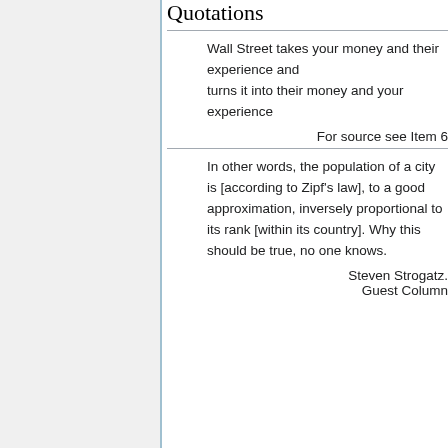Quotations
Wall Street takes your money and their experience and turns it into their money and your experience
For source see Item 6
In other words, the population of a city is [according to Zipf's law], to a good approximation, inversely proportional to its rank [within its country]. Why this should be true, no one knows.
Steven Strogatz. Guest Column